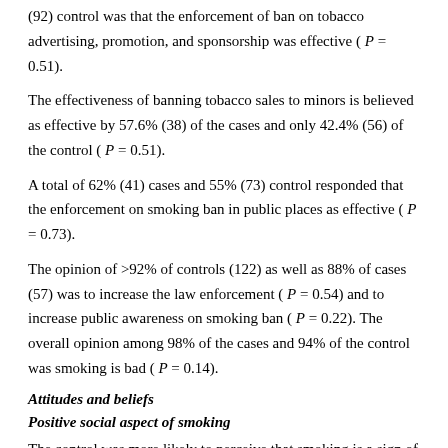(92) control was that the enforcement of ban on tobacco advertising, promotion, and sponsorship was effective ( P = 0.51).
The effectiveness of banning tobacco sales to minors is believed as effective by 57.6% (38) of the cases and only 42.4% (56) of the control ( P = 0.51).
A total of 62% (41) cases and 55% (73) control responded that the enforcement on smoking ban in public places as effective ( P = 0.73).
The opinion of >92% of controls (122) as well as 88% of cases (57) was to increase the law enforcement ( P = 0.54) and to increase public awareness on smoking ban ( P = 0.22). The overall opinion among 98% of the cases and 94% of the control was smoking is bad ( P = 0.14).
Attitudes and beliefs
Positive social aspect of smoking
The control was more likely to perceive that smoking is a sign of being modern ( P = 0.003), it is acceptable for young men ( P = 0.04) and women ( P = 0.01) to smoke, and smokers have more friends ( P = 0.92).